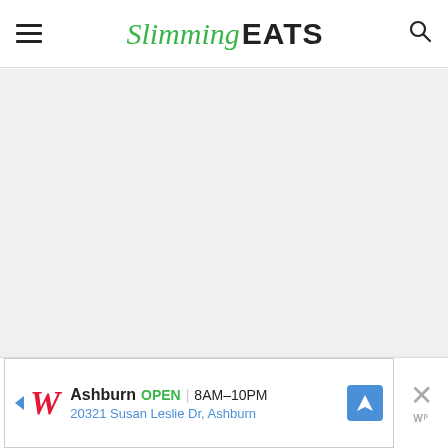[Figure (logo): Slimming Eats website header with hamburger menu on left, 'Slimming EATS' logo in center (Slimming in green italic script, EATS in bold black), and search icon on right]
[Figure (other): Grey empty content area below header]
[Figure (other): Advertisement banner: Walgreens ad showing Ashburn location OPEN 8AM-10PM, 20321 Susan Leslie Dr, Ashburn, with navigation icon and close button]